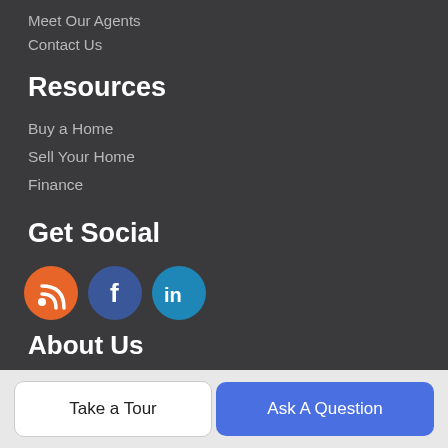Meet Our Agents
Contact Us
Resources
Buy a Home
Sell Your Home
Finance
Get Social
[Figure (infographic): Three social media icon circles: RSS (orange), Facebook (dark blue), LinkedIn (light blue)]
About Us
"For All You Need To Know About Real Estate"
Robert Greene Real Estate, Inc.
Take a Tour
Ask A Question